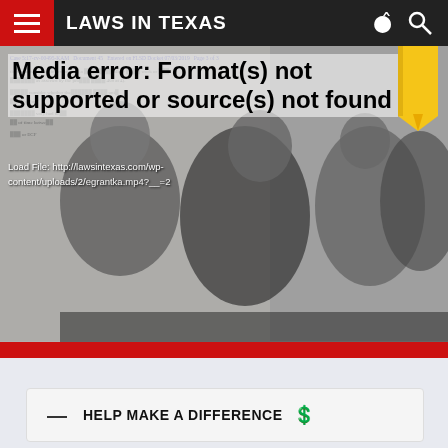LAWS IN TEXAS
[Figure (photo): Website screenshot showing a media player error overlay on top of a black and white photo of legal figures including judges and lawyers in robes, with a legal document background. Error text reads: Media error: Format(s) not supported or source(s) not found. Load File: http://lawsintexas.com/wp-content/uploads/2/egrantka.mp4?__=2. Case 5:17-cv-00495-KAM Document 45 Entered on FLSD Docket 07/03/2019 Page 3 of 3. A yellow pencil is visible at top right. A red bar runs along the bottom of the image.]
— HELP MAKE A DIFFERENCE 💲